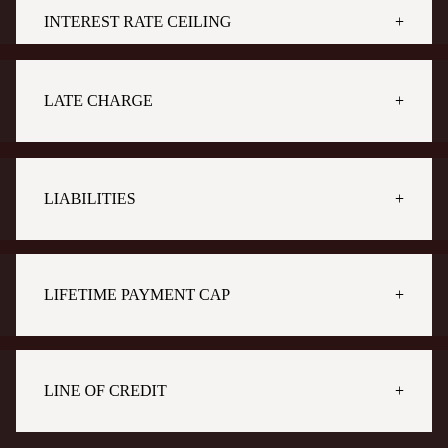INTEREST RATE CEILING +
LATE CHARGE +
LIABILITIES +
LIFETIME PAYMENT CAP +
LINE OF CREDIT +
LIQUID ASSET +
INTEREST RATE FLOOR +